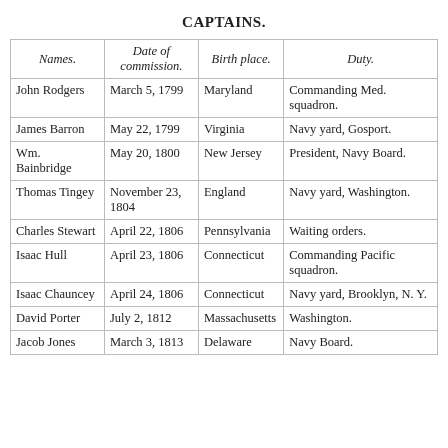CAPTAINS.
| Names. | Date of commission. | Birth place. | Duty. |
| --- | --- | --- | --- |
| John Rodgers | March 5, 1799 | Maryland | Commanding Med. squadron. |
| James Barron | May 22, 1799 | Virginia | Navy yard, Gosport. |
| Wm. Bainbridge | May 20, 1800 | New Jersey | President, Navy Board. |
| Thomas Tingey | November 23, 1804 | England | Navy yard, Washington. |
| Charles Stewart | April 22, 1806 | Pennsylvania | Waiting orders. |
| Isaac Hull | April 23, 1806 | Connecticut | Commanding Pacific squadron. |
| Isaac Chauncey | April 24, 1806 | Connecticut | Navy yard, Brooklyn, N. Y. |
| David Porter | July 2, 1812 | Massachusetts | Washington. |
| Jacob Jones | March 3, 1813 | Delaware | Navy Board. |